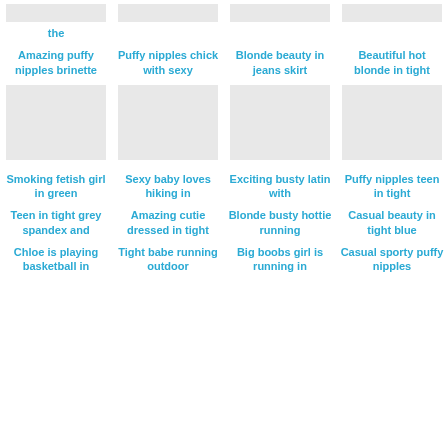the
Amazing puffy nipples brinette
Puffy nipples chick with sexy
Blonde beauty in jeans skirt
Beautiful hot blonde in tight
Smoking fetish girl in green
Sexy baby loves hiking in
Exciting busty latin with
Puffy nipples teen in tight
Teen in tight grey spandex and
Amazing cutie dressed in tight
Blonde busty hottie running
Casual beauty in tight blue
Chloe is playing basketball in
Tight babe running outdoor
Big boobs girl is running in
Casual sporty puffy nipples